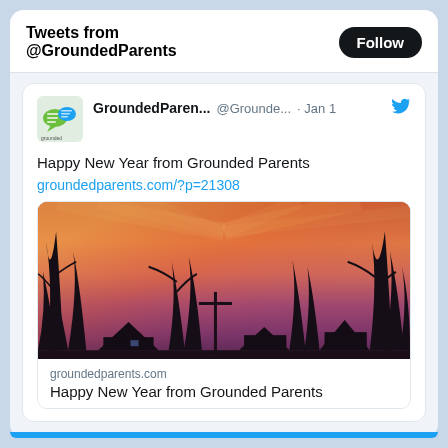Tweets from @GroundedParents
GroundedParen... @Grounde... · Jan 1
Happy New Year from Grounded Parents
groundedparents.com/?p=21308
[Figure (photo): Dramatic orange and pink sunset sky with silhouetted bare trees and houses in the foreground]
groundedparents.com
Happy New Year from Grounded Parents